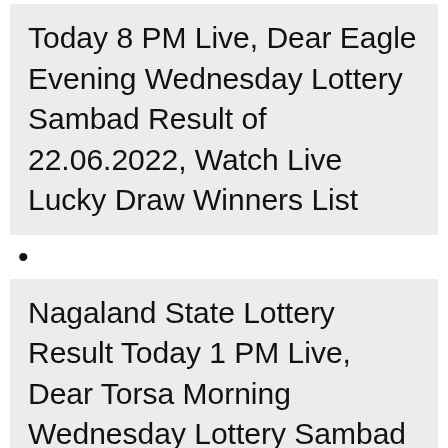Today 8 PM Live, Dear Eagle Evening Wednesday Lottery Sambad Result of 22.06.2022, Watch Live Lucky Draw Winners List
•
Nagaland State Lottery Result Today 1 PM Live, Dear Torsa Morning Wednesday Lottery Sambad Result of 22.06.2022, Watch Live Lucky Draw